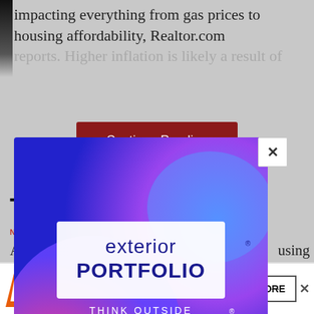impacting everything from gas prices to housing affordability, Realtor.com reports. Higher inflation is likely a result of
[Figure (screenshot): Red 'Continue Reading' button]
TOP A
NEW-CO
After housing Coming late 2022
[Figure (infographic): Exterior Portfolio advertisement popup with colorful gradient background, logo reading 'exterior PORTFOLIO THINK OUTSIDE', and a 'See Our New Colors' blue button. White X close button in top-right corner.]
[Figure (logo): Andersen Windows & Doors 400 Series logo advertisement at bottom with 'LEARN MORE' button and X close button]
MULTIF
Miss